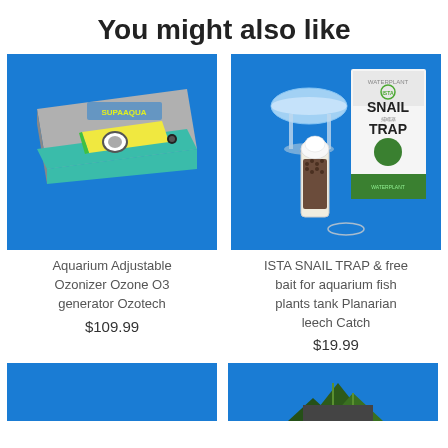You might also like
[Figure (photo): Aquarium adjustable ozonizer device on blue background]
[Figure (photo): ISTA Snail Trap product with bait bottle on blue background]
Aquarium Adjustable Ozonizer Ozone O3 generator Ozotech
$109.99
ISTA SNAIL TRAP & free bait for aquarium fish plants tank Planarian leech Catch
$19.99
[Figure (photo): Bottom left product image (blue background, partially visible)]
[Figure (photo): Bottom right product image (blue background with aquatic plant decoration visible)]